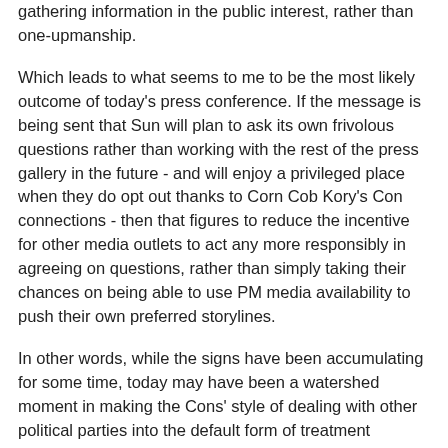gathering information in the public interest, rather than one-upmanship.
Which leads to what seems to me to be the most likely outcome of today's press conference. If the message is being sent that Sun will plan to ask its own frivolous questions rather than working with the rest of the press gallery in the future - and will enjoy a privileged place when they do opt out thanks to Corn Cob Kory's Con connections - then that figures to reduce the incentive for other media outlets to act any more responsibly in agreeing on questions, rather than simply taking their chances on being able to use PM media availability to push their own preferred storylines.
In other words, while the signs have been accumulating for some time, today may have been a watershed moment in making the Cons' style of dealing with other political parties into the default form of treatment between Canadian media outlets: refuse to cooperate, consider only your own interests, and twist every moment for maximum damage to your perceived opponents. And that hardly looks to be any more desirable among journalists than it is in a political